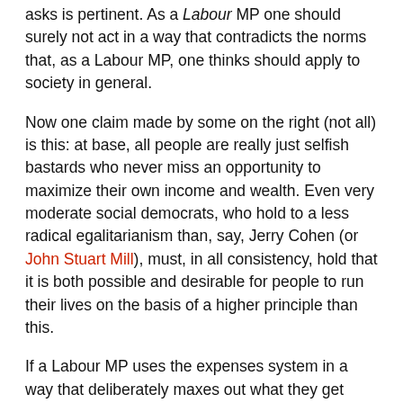asks is pertinent. As a Labour MP one should surely not act in a way that contradicts the norms that, as a Labour MP, one thinks should apply to society in general.
Now one claim made by some on the right (not all) is this: at base, all people are really just selfish bastards who never miss an opportunity to maximize their own income and wealth. Even very moderate social democrats, who hold to a less radical egalitarianism than, say, Jerry Cohen (or John Stuart Mill), must, in all consistency, hold that it is both possible and desirable for people to run their lives on the basis of a higher principle than this.
If a Labour MP uses the expenses system in a way that deliberately maxes out what they get then, I suggest, they are acting in a way that conforms to the right-wing claim. They are not acting in their own lives on the basis of the principle which they must, in all consistency, think society as a whole both can and should live up to.
It is the apparent failure of some Labour MPs to live up to this higher principle that I find so depressing in this fiasco.